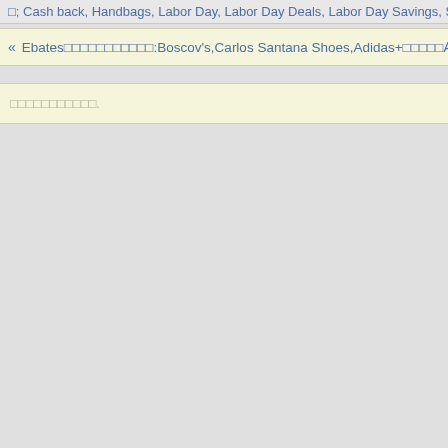□; Cash back, Handbags, Labor Day, Labor Day Deals, Labor Day Savings, Shoes
« Ebates□□□□□□□□□□□:Boscov's,Carlos Santana Shoes,Adidas+□□□□□
□□□□□□□□□□□.